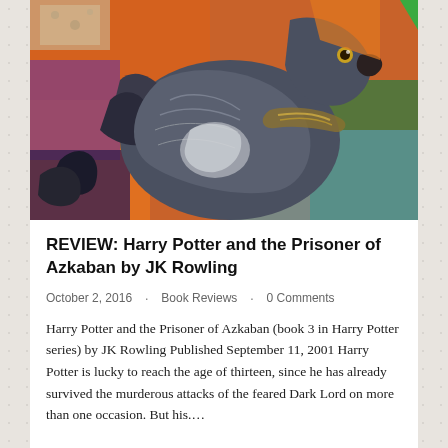[Figure (photo): Close-up photograph of a colorful Harry Potter and the Prisoner of Azkaban book cover showing a detailed illustration of Buckbeak the hippogriff with orange, blue, green and purple colors]
REVIEW: Harry Potter and the Prisoner of Azkaban by JK Rowling
October 2, 2016  ·  Book Reviews  ·  0 Comments
Harry Potter and the Prisoner of Azkaban (book 3 in Harry Potter series) by JK Rowling Published September 11, 2001 Harry Potter is lucky to reach the age of thirteen, since he has already survived the murderous attacks of the feared Dark Lord on more than one occasion. But his.…